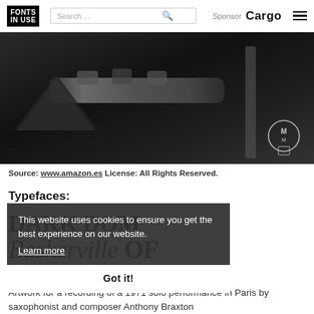FONTS IN USE | Search ... | Sponsor Cargo
[Figure (photo): Black and white close-up photo of a saxophone or musical instrument parts, with a logo watermark in the bottom right corner]
Source: www.amazon.es License: All Rights Reserved.
Typefaces:
This website uses cookies to ensure you get the best experience on our website.
Learn more
Got it!
DARK DOM
Baskerville OF
Artwork for a recording of a 1971 solo performance in Paris by saxophonist and composer Anthony Braxton